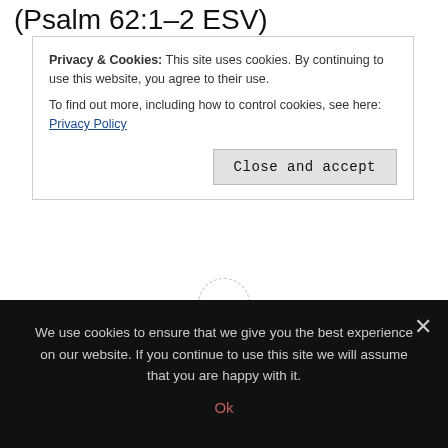(Psalm 62:1–2 ESV)
Privacy & Cookies: This site uses cookies. By continuing to use this website, you agree to their use.
To find out more, including how to control cookies, see here: Privacy Policy
Close and accept
Article Rating
Share it! Pin it. Print it.
We use cookies to ensure that we give you the best experience on our website. If you continue to use this site we will assume that you are happy with it.
Ok